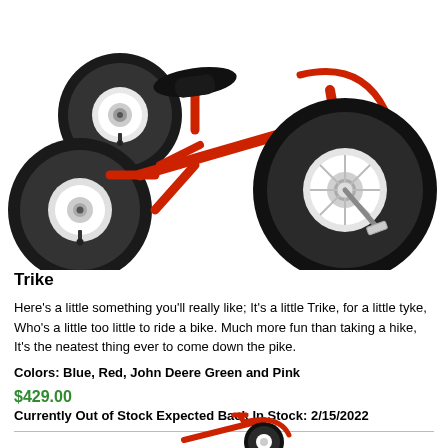[Figure (photo): Red tricycle with black tires and white wheel hubs, viewed from the side, showing seat, frame, front wheel with pedals and chrome hardware, and two rear wheels]
Trike
Here's a little something you'll really like; It's a little Trike, for a little tyke, Who's a little too little to ride a bike. Much more fun than taking a hike, It's the neatest thing ever to come down the pike.
Colors: Blue, Red, John Deere Green and Pink
$429.00
Currently Out of Stock Expected Back In Stock: 2/15/2022
[Figure (photo): Partial view of another red tricycle/ride-on toy at the bottom of the page]